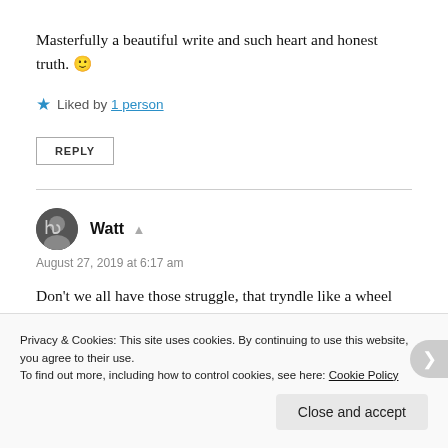Masterfully a beautiful write and such heart and honest truth. 🙂
★ Liked by 1 person
REPLY
Watt
August 27, 2019 at 6:17 am
Don't we all have those struggle, that tryndle like a wheel and drive away at the hit of a poem.
Privacy & Cookies: This site uses cookies. By continuing to use this website, you agree to their use. To find out more, including how to control cookies, see here: Cookie Policy